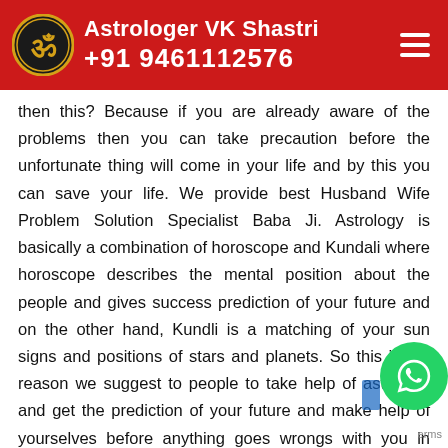Astrologer VK Shastri +91 9461112576
then this? Because if you are already aware of the problems then you can take precaution before the unfortunate thing will come in your life and by this you can save your life. We provide best Husband Wife Problem Solution Specialist Baba Ji. Astrology is basically a combination of horoscope and Kundali where horoscope describes the mental position about the people and gives success prediction of your future and on the other hand, Kundli is a matching of your sun signs and positions of stars and planets. So this is the reason we suggest to people to take help of astrology and get the prediction of your future and make help of yourselves before anything goes wrongs with you in your future. For astrology consultancy, you can consult to our astrologer who provides astrology services in India and accurate solution of each kind of problem of people.